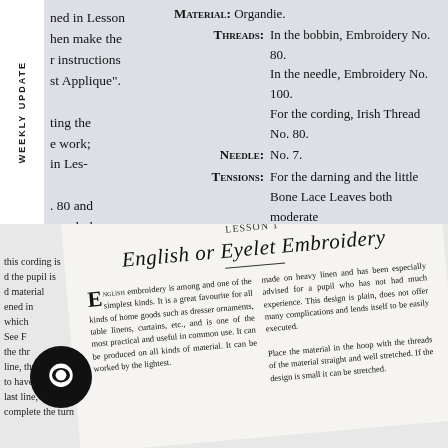MATERIAL: Organdie. THREADS: In the bobbin, Embroidery No. 80. In the needle, Embroidery No. 100. For the cording, Irish Thread No. 80. NEEDLE: No. 7. TENSIONS: For the darning and the little Bone Lace Leaves both moderate and even; for the Bars and Cording the upper moderate and the bobbin tension somewhat tight.
ned in Lesson
hen make the
r instructions
st Applique".
ting the
e work;
in Les-
. 80 and
conclude
WEEKLY UPDATE
LESSON 1
English or Eyelet Embroidery
English embroidery is among and one of the simplest kinds. It is a great favourite for all kinds of home goods such as dresser ornaments, table linens, curtains, etc., and is one of the most practical and useful in common use. It can be produced on all kinds of material. It can be worked by the lightest...
made on heavy linen and has been especially advised for a pupil who has not had much experience. This design is plain, does not offer many complications and lends itself to be easily executed. Place the material in the hoop with the threads of the material straight and well stretched. If the design is small it can be stretched...